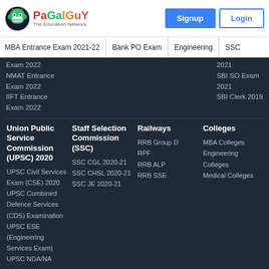[Figure (logo): PaGaLGuY logo with masked face icon and tagline 'The Education Network']
Signup
Login
MBA Entrance Exam 2021-22 | Bank PO Exam | Engineering | SSC
Exam 2022
NMAT Entrance Exam 2022
IIFT Entrance Exam 2022
2021
SBI SO Exam 2021
SBI Clerk 2019
Union Public Service Commission (UPSC) 2020
Staff Selection Commission (SSC)
Railways
Colleges
UPSC Civil Services Exam (CSE) 2020
UPSC Combined Defence Services (CDS) Examination
UPSC ESE (Engineering Services Exam)
UPSC NDA/NA
SSC CGL 2020-21
SSC CHSL 2020-21
SSC JE 2020-21
RRB Group D
RPF
RRB ALP
RRB SSE
MBA Colleges
Engineering Colleges
Medical Colleges